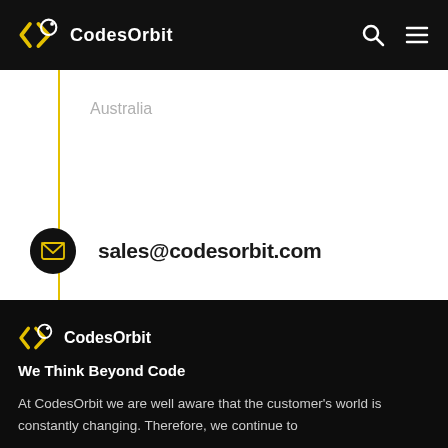CodesOrbit
Australia
sales@codesorbit.com
[Figure (logo): CodesOrbit logo in footer]
We Think Beyond Code
At CodesOrbit we are well aware that the customer's world is constantly changing. Therefore, we continue to